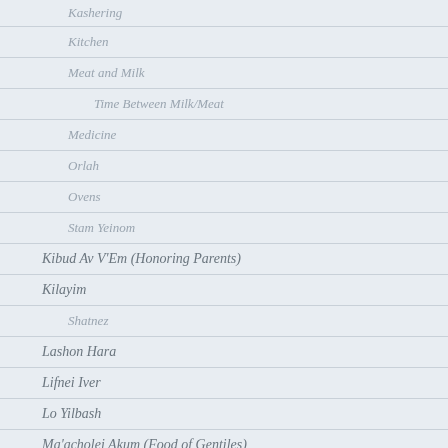Kashering
Kitchen
Meat and Milk
Time Between Milk/Meat
Medicine
Orlah
Ovens
Stam Yeinom
Kibud Av V'Em (Honoring Parents)
Kilayim
Shatnez
Lashon Hara
Lifnei Iver
Lo Yilbash
Ma'acholei Akum (Food of Gentiles)
Bishul Yisroel